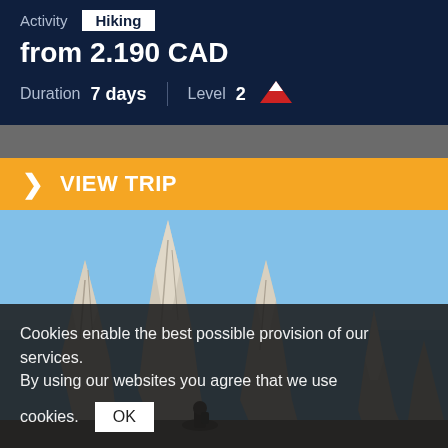Activity   Hiking
from 2.190 CAD
Duration   7 days   |   Level   2
> VIEW TRIP
[Figure (photo): Tall rocky mountain spires (Torres del Paine style) against a clear blue sky, with a dark silhouette of a person at the base]
Cookies enable the best possible provision of our services. By using our websites you agree that we use cookies.   OK
ASK A LOCAL EXPERT